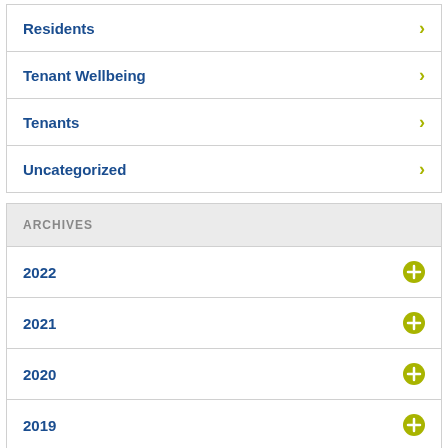Residents
Tenant Wellbeing
Tenants
Uncategorized
ARCHIVES
2022
2021
2020
2019
2018
2017